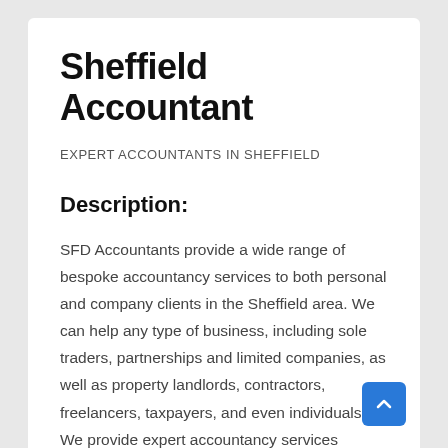Sheffield Accountant
EXPERT ACCOUNTANTS IN SHEFFIELD
Description:
SFD Accountants provide a wide range of bespoke accountancy services to both personal and company clients in the Sheffield area. We can help any type of business, including sole traders, partnerships and limited companies, as well as property landlords, contractors, freelancers, taxpayers, and even individuals. We provide expert accountancy services including statutory accounts, tax, payroll, business advice and much more. Our local, professional advisors will guide you every step of the way, so